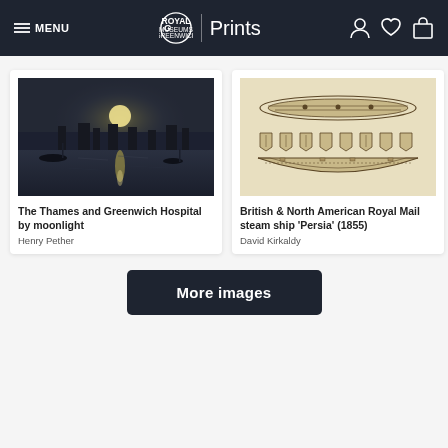MENU | Royal Museums Greenwich | Prints
[Figure (photo): Moonlit painting of The Thames and Greenwich Hospital at night, with boats on water and moon reflecting on the river]
The Thames and Greenwich Hospital by moonlight
Henry Pether
[Figure (engineering-diagram): Technical cross-section diagram of British & North American Royal Mail steam ship 'Persia' (1855), showing side elevation and hull ornaments]
British & North American Royal Mail steam ship 'Persia' (1855)
David Kirkaldy
More images